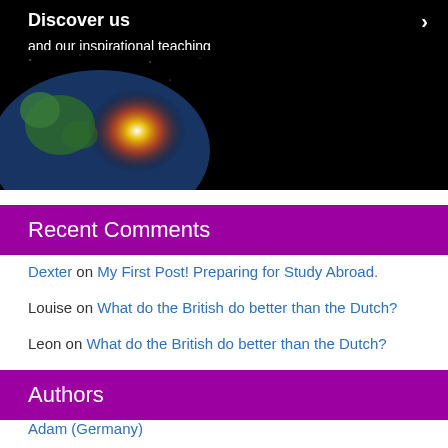[Figure (photo): Dark space/Earth banner with text 'Discover us' and subtitle 'and our inspirational teaching', showing a globe with light rays on black background]
Recent Comments
Dexter on My First Post! Preparing for Study Abroad.
Louise on What do the British do better than the Dutch?
Leon on What do the British do better than the Dutch?
Louise on My first semester in the Netherlands overall
Sumit on My first semester in the Netherlands overall
Authors
Adam (Germany)